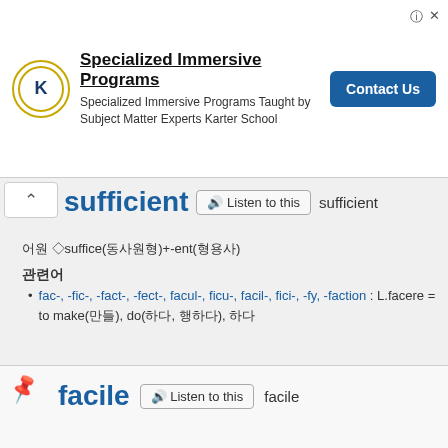[Figure (other): Advertisement banner for Karter School Specialized Immersive Programs with logo, text, and Contact Us button]
sufficient
어원 ◇suffice(동사원형)+-ent(형용사)
관련어
fac-, -fic-, -fact-, -fect-, facul-, ficu-, facil-, fici-, -fy, -faction : L.facere = to make(만들), do(하다, 행하다), 하다
facile
🔊 Listen to this  facile